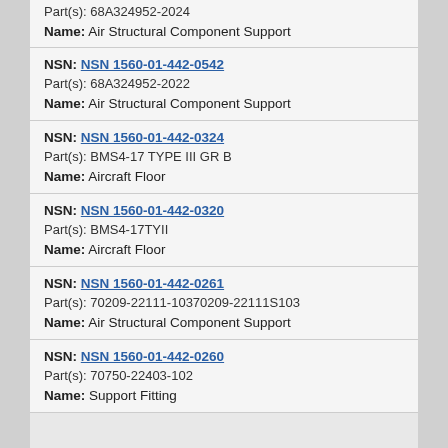Part(s): 68A324952-2024
Name: Air Structural Component Support
NSN: NSN 1560-01-442-0542
Part(s): 68A324952-2022
Name: Air Structural Component Support
NSN: NSN 1560-01-442-0324
Part(s): BMS4-17 TYPE III GR B
Name: Aircraft Floor
NSN: NSN 1560-01-442-0320
Part(s): BMS4-17TYII
Name: Aircraft Floor
NSN: NSN 1560-01-442-0261
Part(s): 70209-22111-10370209-22111S103
Name: Air Structural Component Support
NSN: NSN 1560-01-442-0260
Part(s): 70750-22403-102
Name: Support Fitting